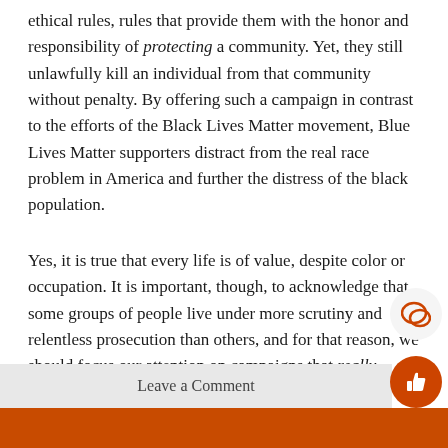ethical rules, rules that provide them with the honor and responsibility of protecting a community. Yet, they still unlawfully kill an individual from that community without penalty. By offering such a campaign in contrast to the efforts of the Black Lives Matter movement, Blue Lives Matter supporters distract from the real race problem in America and further the distress of the black population.
Yes, it is true that every life is of value, despite color or occupation. It is important, though, to acknowledge that some groups of people live under more scrutiny and relentless prosecution than others, and for that reason, we should focus our attention on campaigns that really matter.
Leave a Comment